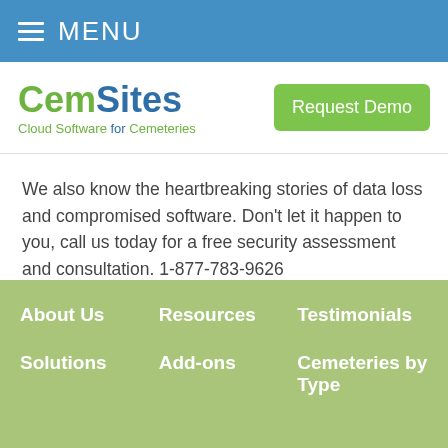MENU
[Figure (logo): CemSites logo - Cloud Software for Cemeteries, with a Request Demo button]
We also know the heartbreaking stories of data loss and compromised software. Don't let it happen to you, call us today for a free security assessment and consultation. 1-877-783-9626
Filed Under: Cemetery Software, Security
About Us | Resources | Testimonials | Solutions | Add-ons | Cemeteries by Type